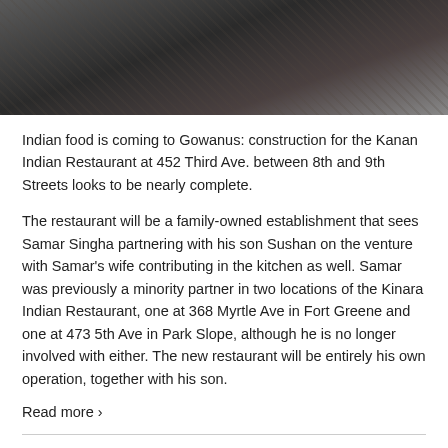[Figure (photo): Dark photograph of restaurant interior or street scene, dimly lit]
Indian food is coming to Gowanus: construction for the Kanan Indian Restaurant at 452 Third Ave. between 8th and 9th Streets looks to be nearly complete.
The restaurant will be a family-owned establishment that sees Samar Singha partnering with his son Sushan on the venture with Samar's wife contributing in the kitchen as well. Samar was previously a minority partner in two locations of the Kinara Indian Restaurant, one at 368 Myrtle Ave in Fort Greene and one at 473 5th Ave in Park Slope, although he is no longer involved with either. The new restaurant will be entirely his own operation, together with his son.
Read more ›
NEWSFLASH: COTTA BENE'S LUNCH STOREFRONT HAS AMAZING SANDWICHES!
Gowanus residents probably know Cotta Bene, the pizza restaurant at the corner of 3rd Avenue and Carroll. Maybe you've stopped in for a